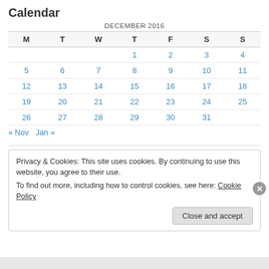Calendar
| M | T | W | T | F | S | S |
| --- | --- | --- | --- | --- | --- | --- |
|  |  |  | 1 | 2 | 3 | 4 |
| 5 | 6 | 7 | 8 | 9 | 10 | 11 |
| 12 | 13 | 14 | 15 | 16 | 17 | 18 |
| 19 | 20 | 21 | 22 | 23 | 24 | 25 |
| 26 | 27 | 28 | 29 | 30 | 31 |  |
« Nov  Jan »
Privacy & Cookies: This site uses cookies. By continuing to use this website, you agree to their use.
To find out more, including how to control cookies, see here: Cookie Policy
Close and accept